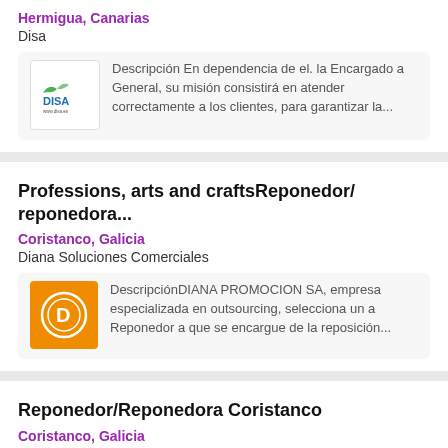Hermigua, Canarias
Disa
Descripción En dependencia de el. la Encargado a General, su misión consistirá en atender correctamente a los clientes, para garantizar la...
Professions, arts and craftsReponedor/ reponedora...
Coristanco, Galicia
Diana Soluciones Comerciales
DescripciónDIANA PROMOCION SA, empresa especializada en outsourcing, selecciona un a Reponedor a que se encargue de la reposición...
Reponedor/Reponedora Coristanco
Coristanco, Galicia
Grupo CTC